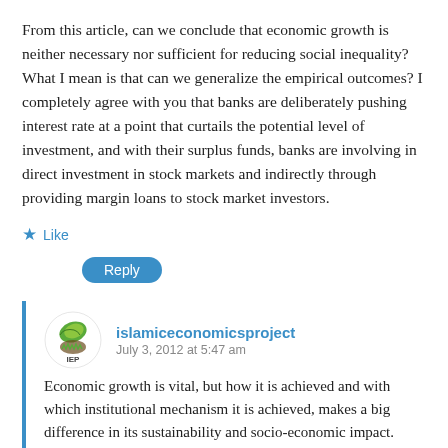From this article, can we conclude that economic growth is neither necessary nor sufficient for reducing social inequality? What I mean is that can we generalize the empirical outcomes? I completely agree with you that banks are deliberately pushing interest rate at a point that curtails the potential level of investment, and with their surplus funds, banks are involving in direct investment in stock markets and indirectly through providing margin loans to stock market investors.
★ Like
Reply
islamiceconomicsproject
July 3, 2012 at 5:47 am
[Figure (logo): islamiceconomicsproject logo — green circular design with IEP text]
Economic growth is vital, but how it is achieved and with which institutional mechanism it is achieved, makes a big difference in its sustainability and socio-economic impact. Wealth inequality exists and is perpetuated and worsened by interest based system.